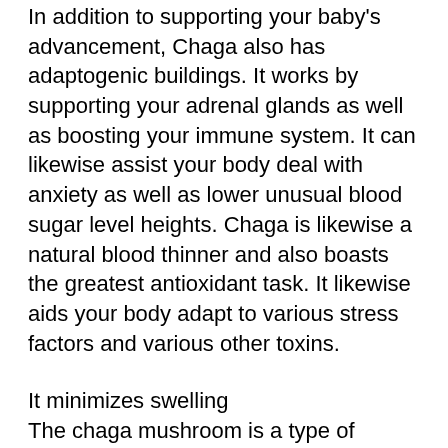In addition to supporting your baby's advancement, Chaga also has adaptogenic buildings. It works by supporting your adrenal glands as well as boosting your immune system. It can likewise assist your body deal with anxiety as well as lower unusual blood sugar level heights. Chaga is likewise a natural blood thinner and also boasts the greatest antioxidant task. It likewise aids your body adapt to various stress factors and various other toxins.
It minimizes swelling
The chaga mushroom is a type of mushroom located on birch trees and has been collected for centuries as a health supplement. Recent research studies suggest that the chaga remove might have numerous wellness benefits, consisting of reduced inflammation. Inflammation is an all-natural